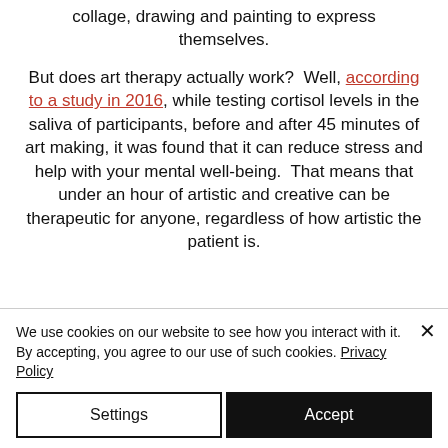collage, drawing and painting to express themselves.
But does art therapy actually work? Well, according to a study in 2016, while testing cortisol levels in the saliva of participants, before and after 45 minutes of art making, it was found that it can reduce stress and help with your mental well-being. That means that under an hour of artistic and creative can be therapeutic for anyone, regardless of how artistic the patient is.
We use cookies on our website to see how you interact with it. By accepting, you agree to our use of such cookies. Privacy Policy
Settings
Accept